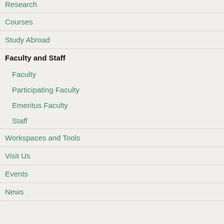Research
Courses
Study Abroad
Faculty and Staff
Faculty
Participating Faculty
Emeritus Faculty
Staff
Workspaces and Tools
Visit Us
Events
News